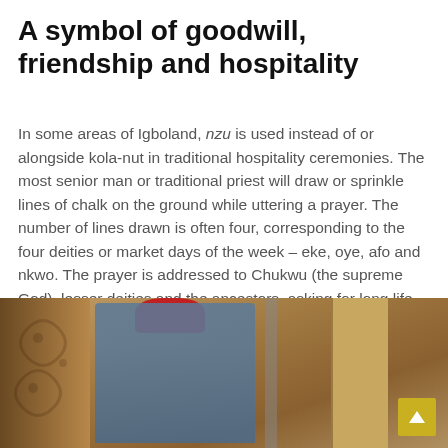A symbol of goodwill, friendship and hospitality
In some areas of Igboland, nzu is used instead of or alongside kola-nut in traditional hospitality ceremonies. The most senior man or traditional priest will draw or sprinkle lines of chalk on the ground while uttering a prayer. The number of lines drawn is often four, corresponding to the four deities or market days of the week – eke, oye, afo and nkwo. The prayer is addressed to Chukwu (the supreme God), lesser deities and the ancestors, asking for long life, wealth, peace and fairness. At the end of each prayer, those present will respond by saying Ise!
[Figure (photo): A man wearing a red headdress and blue/denim clothing seated in a traditional setting with decorated mud walls, leopard-print fabric on a chair, and a doorway visible on the right side. A yellow scroll-to-top button is visible in the bottom right corner.]